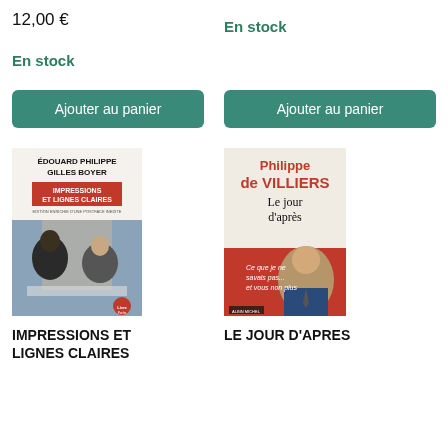12,00 €
En stock
En stock
Ajouter au panier
Ajouter au panier
[Figure (photo): Book cover: ÉDOUARD PHILIPPE GILLES BOYER - IMPRESSIONS ET LIGNES CLAIRES]
[Figure (photo): Book cover: Philippe de VILLIERS - Le jour d'après]
IMPRESSIONS ET LIGNES CLAIRES
LE JOUR D'APRES